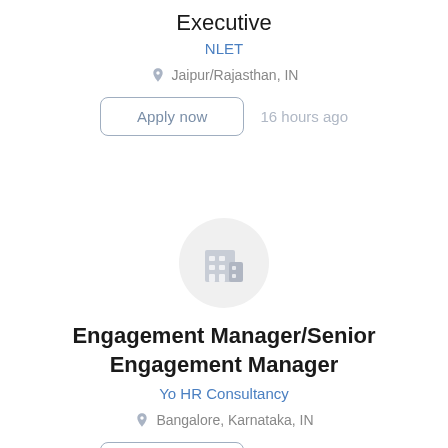Executive
NLET
Jaipur/Rajasthan, IN
Apply now   16 hours ago
[Figure (illustration): Company logo placeholder: grey circle with a building/office icon]
Engagement Manager/Senior Engagement Manager
Yo HR Consultancy
Bangalore, Karnataka, IN
Apply now   16 hours ago